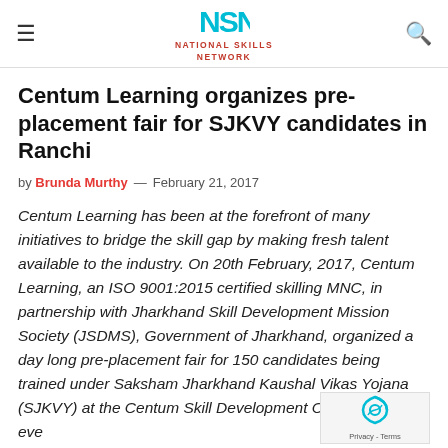NATIONAL SKILLS NETWORK
Centum Learning organizes pre-placement fair for SJKVY candidates in Ranchi
by Brunda Murthy — February 21, 2017
Centum Learning has been at the forefront of many initiatives to bridge the skill gap by making fresh talent available to the industry. On 20th February, 2017, Centum Learning, an ISO 9001:2015 certified skilling MNC, in partnership with Jharkhand Skill Development Mission Society (JSDMS), Government of Jharkhand, organized a day long pre-placement fair for 150 candidates being trained under Saksham Jharkhand Kaushal Vikas Yojana (SJKVY) at the Centum Skill Development Centre. The first eve...